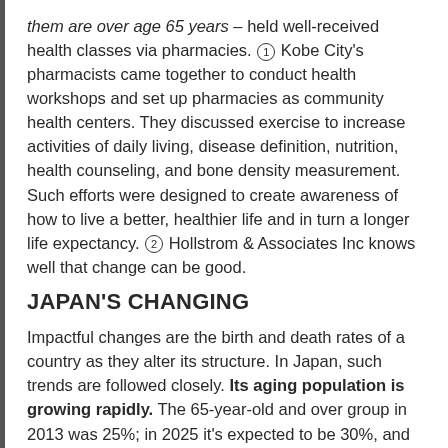them are over age 65 years – held well-received health classes via pharmacies. (1) Kobe City's pharmacists came together to conduct health workshops and set up pharmacies as community health centers. They discussed exercise to increase activities of daily living, disease definition, nutrition, health counseling, and bone density measurement. Such efforts were designed to create awareness of how to live a better, healthier life and in turn a longer life expectancy. (2) Hollstrom & Associates Inc knows well that change can be good.
JAPAN'S CHANGING
Impactful changes are the birth and death rates of a country as they alter its structure. In Japan, such trends are followed closely. Its aging population is growing rapidly. The 65-year-old and over group in 2013 was 25%; in 2025 it's expected to be 30%, and in 2060 to be 39.9%. The over 75 years group in 2013 was 12.3% and estimated to be 26.9% in 2060. This aging group creates what researchers term a "super-aged" society. With aging, different healthcare challenges arise for the people and their healthcare providers and healthcare system.